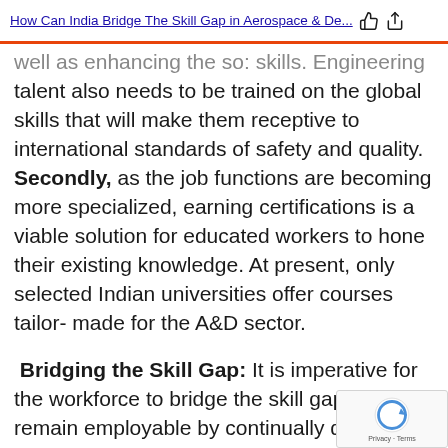How Can India Bridge The Skill Gap in Aerospace & De...
well as enhancing the so: skills. Engineering talent also needs to be trained on the global skills that will make them receptive to international standards of safety and quality. Secondly, as the job functions are becoming more specialized, earning certifications is a viable solution for educated workers to hone their existing knowledge. At present, only selected Indian universities offer courses tailor-made for the A&D sector.
Bridging the Skill Gap: It is imperative for the workforce to bridge the skill gap and remain employable by continually developing new to keep up with emerging technologies and